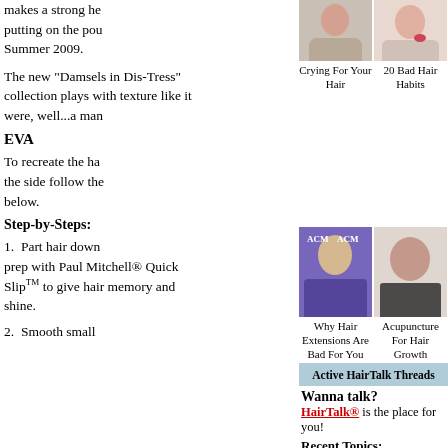makes a strong he putting on the pou Summer 2009.
[Figure (photo): Woman with long wavy brown hair]
[Figure (photo): Woman applying lipstick, smiling]
Crying For Your Hair
20 Bad Hair Habits
The new "Damsels in Dis-Tress" collection plays with texture like it were, well...a man
[Figure (photo): Blonde woman with updo at ACM Awards]
[Figure (photo): Middle-aged man with short dark hair]
EVA
To recreate the ha the side follow the below.
Step-by-Steps:
Why Hair Extensions Are Bad For You
Acupuncture For Hair Growth
1.  Part hair down prep with Paul Mitchell® Quick SlipTM to give hair memory and shine.
Active HairTalk Threads
Wanna talk?
HairTalk® is the place for you!
Recent Topics:
2.  Smooth small sections with